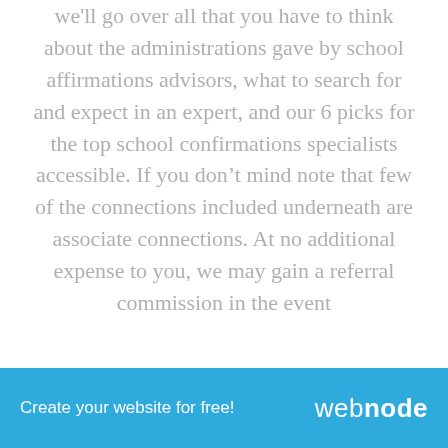we'll go over all that you have to think about the administrations gave by school affirmations advisors, what to search for and expect in an expert, and our 6 picks for the top school confirmations specialists accessible. If you don't mind note that few of the connections included underneath are associate connections. At no additional expense to you, we may gain a referral commission in the event
Create your website for free!  webnode